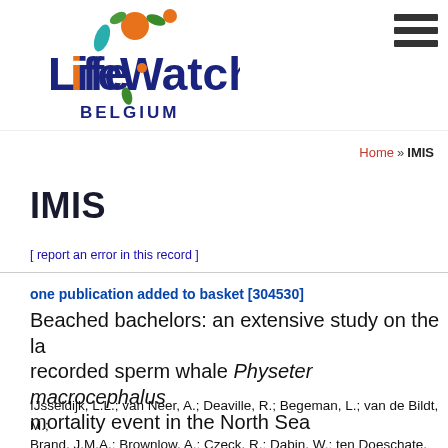[Figure (logo): LifeWatch Belgium logo with orange fruit, green leaves, teal leaf, and dark blue 'LifeWatch' text with 'e' in orange, 'BELGIUM' in dark blue below]
Home » IMIS
IMIS
[ report an error in this record ]
one publication added to basket [304530]
Beached bachelors: an extensive study on the la recorded sperm whale Physeter macrocephalus mortality event in the North Sea
IJsseldijk, L.L.; van Neer, A.; Deaville, R.; Begeman, L.; van de Bildt, M.; Brand, J.M.A.; Brownlow, A.; Czeck, R.; Dabin, W.; ten Doeschate, M.; H Herr, H.; Ijzer, J.; Jauniaux, T.; Jensen, L.F.; Jepson, P.D.; Jo, W.K.; Lakeme Lehnert, K.; Leopold, M.F.; Osterhaus, A.; Perkins, M.W.; Piatkowski, U Berninghoff, E.; Rund, R.; Wohlsein, P.; Gröne, A.; Siebert, U. (2018);